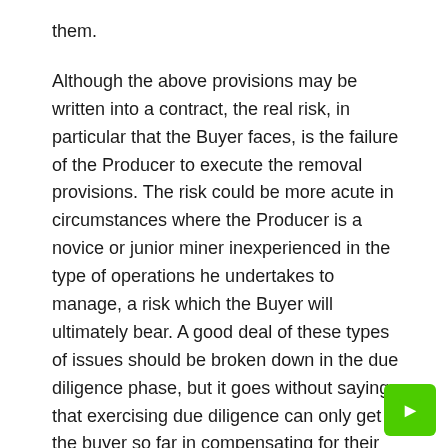them.
Although the above provisions may be written into a contract, the real risk, in particular that the Buyer faces, is the failure of the Producer to execute the removal provisions. The risk could be more acute in circumstances where the Producer is a novice or junior miner inexperienced in the type of operations he undertakes to manage, a risk which the Buyer will ultimately bear. A good deal of these types of issues should be broken down in the due diligence phase, but it goes without saying that exercising due diligence can only get the buyer so far in compensating for their liability to the customer. ‘coming.